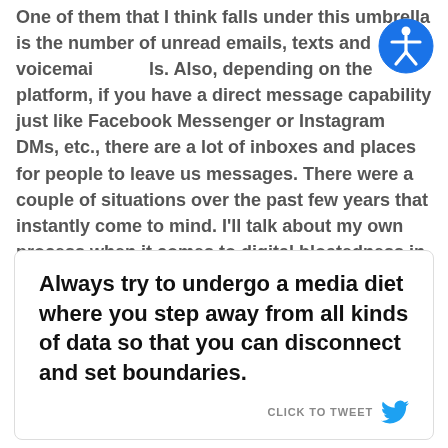One of them that I think falls under this umbrella is the number of unread emails, texts and voicemails. Also, depending on the platform, if you have a direct message capability just like Facebook Messenger or Instagram DMs, etc., there are a lot of inboxes and places for people to leave us messages. There were a couple of situations over the past few years that instantly come to mind. I'll talk about my own process when it comes to digital bloatedness in terms of messaging.
[Figure (illustration): Accessibility icon: circular blue badge with a white stick figure person with arms outstretched]
Always try to undergo a media diet where you step away from all kinds of data so that you can disconnect and set boundaries.
CLICK TO TWEET